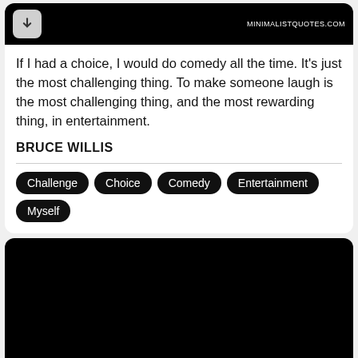[Figure (screenshot): Top black bar with a download button (grey rounded square with down arrow) on the left and 'MINIMALISTQUOTES.COM' text on the right in white]
If I had a choice, I would do comedy all the time. It's just the most challenging thing. To make someone laugh is the most challenging thing, and the most rewarding thing, in entertainment.
BRUCE WILLIS
Challenge
Choice
Comedy
Entertainment
Myself
[Figure (photo): A large black/dark image area — second card content area, entirely black]